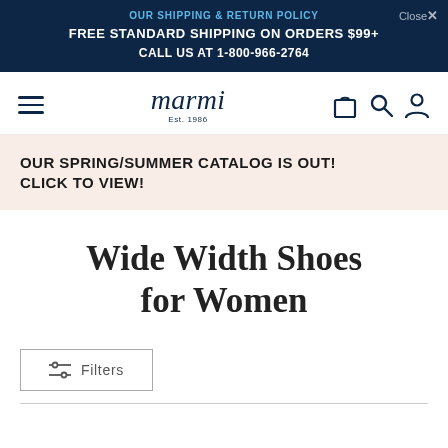OUR SHIPPING & RETURN POLICY
FREE STANDARD SHIPPING ON ORDERS $99+
CALL US AT 1-800-966-2764
[Figure (logo): Marmi shoes logo in cursive script with Est. 1986 below]
OUR SPRING/SUMMER CATALOG IS OUT! CLICK TO VIEW!
Wide Width Shoes for Women
Filters